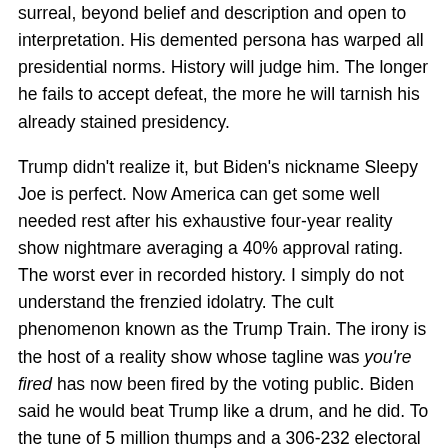surreal, beyond belief and description and open to interpretation. His demented persona has warped all presidential norms. History will judge him. The longer he fails to accept defeat, the more he will tarnish his already stained presidency.
Trump didn't realize it, but Biden's nickname Sleepy Joe is perfect. Now America can get some well needed rest after his exhaustive four-year reality show nightmare averaging a 40% approval rating. The worst ever in recorded history. I simply do not understand the frenzied idolatry. The cult phenomenon known as the Trump Train. The irony is the host of a reality show whose tagline was you're fired has now been fired by the voting public. Biden said he would beat Trump like a drum, and he did. To the tune of 5 million thumps and a 306-232 electoral college victory. Strangely enough it's the